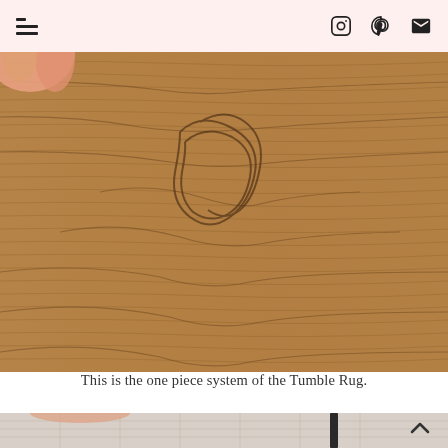☰ [Instagram] [Pinterest] [Email]
[Figure (photo): Close-up photo of a wooden floor surface showing wood grain texture, with a hand partially visible at the top left corner.]
This is the one piece system of the Tumble Rug.
[Figure (photo): Partial photo of a rug on a floor, with a chair leg visible, showing the bottom portion of the image.]